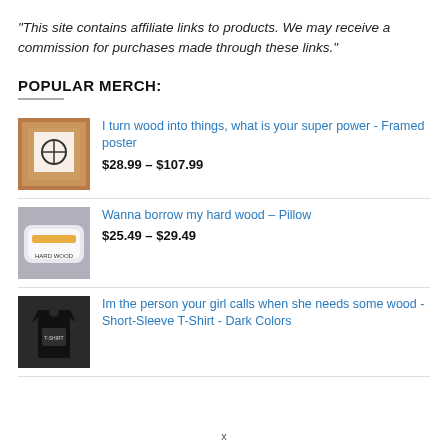"This site contains affiliate links to products. We may receive a commission for purchases made through these links."
POPULAR MERCH:
I turn wood into things, what is your super power - Framed poster
$28.99 – $107.99
Wanna borrow my hard wood – Pillow
$25.49 – $29.49
Im the person your girl calls when she needs some wood - Short-Sleeve T-Shirt - Dark Colors
x